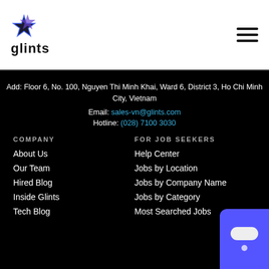[Figure (logo): Glints logo: star icon above the word 'glints']
Add: Floor 6, No. 100, Nguyen Thi Minh Khai, Ward 6, District 3, Ho Chi Minh City, Vietnam
Email: sales-vn@glints.com
Hotline: (028) 7100 3030
COMPANY
About Us
Our Team
Hired Blog
Inside Glints
Tech Blog
FOR JOB SEEKERS
Help Center
Jobs by Location
Jobs by Company Name
Jobs by Category
Most Searched Jobs